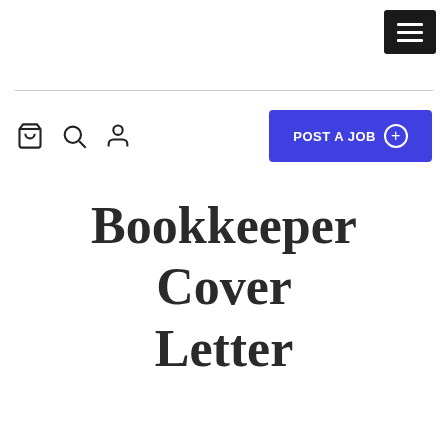[Hamburger menu button]
[Navigation icons: bag, search, user] POST A JOB +
Bookkeeper Cover Letter